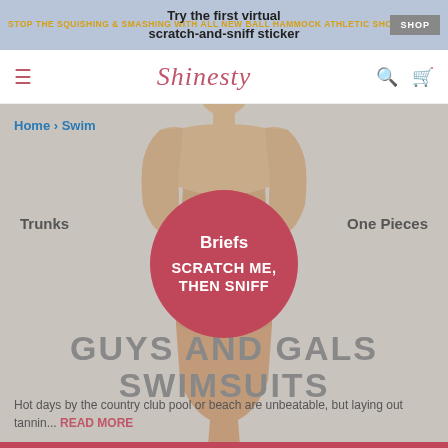STOP THE SQUISHING & SMASHING WITH ALL NEW BALL HAMMOCK ATHLETIC SHORTS.
Try the first virtual scratch-and-sniff sticker
[Figure (screenshot): Shinesty website navigation bar with logo, hamburger menu, search and cart icons]
Home > Swim
[Figure (photo): Man photographed from behind, shirtless, wearing no clothing visible, on a gray background]
Trunks
Briefs
One Pieces
SCRATCH ME, THEN SNIFF
GUYS AND GALS SWIMSUITS
Hot days by the country club pool or beach are unbeatable, but laying out tannin... READ MORE